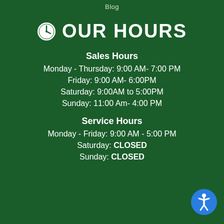Blog
OUR HOURS
Sales Hours
Monday - Thursday: 9:00 AM- 7:00 PM
Friday: 9:00 AM- 6:00PM
Saturday: 9:00AM to 5:00PM
Sunday: 11:00 Am- 4:00 PM
Service Hours
Monday - Friday: 9:00 AM - 5:00 PM
Saturday: CLOSED
Sunday: CLOSED